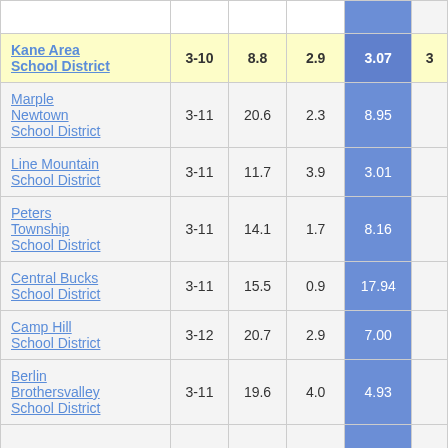| School District | Grades | Col3 | Col4 | Col5 | Col6 |
| --- | --- | --- | --- | --- | --- |
| Kane Area School District | 3-10 | 8.8 | 2.9 | 3.07 | 3... |
| Marple Newtown School District | 3-11 | 20.6 | 2.3 | 8.95 |  |
| Line Mountain School District | 3-11 | 11.7 | 3.9 | 3.01 |  |
| Peters Township School District | 3-11 | 14.1 | 1.7 | 8.16 |  |
| Central Bucks School District | 3-11 | 15.5 | 0.9 | 17.94 |  |
| Camp Hill School District | 3-12 | 20.7 | 2.9 | 7.00 |  |
| Berlin Brothersvalley School District | 3-11 | 19.6 | 4.0 | 4.93 |  |
| (partial row) |  |  |  |  |  |